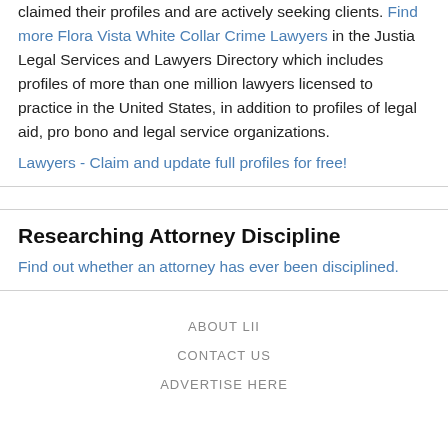claimed their profiles and are actively seeking clients. Find more Flora Vista White Collar Crime Lawyers in the Justia Legal Services and Lawyers Directory which includes profiles of more than one million lawyers licensed to practice in the United States, in addition to profiles of legal aid, pro bono and legal service organizations.
Lawyers - Claim and update full profiles for free!
Researching Attorney Discipline
Find out whether an attorney has ever been disciplined.
ABOUT LII
CONTACT US
ADVERTISE HERE